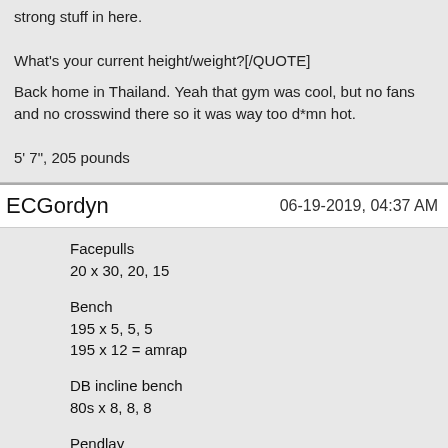strong stuff in here.

What's your current height/weight?[/QUOTE]

Back home in Thailand. Yeah that gym was cool, but no fans and no crosswind there so it was way too d*mn hot.

5' 7", 205 pounds
ECGordyn
06-19-2019, 04:37 AM
Facepulls
20 x 30, 20, 15
Bench
195 x 5, 5, 5
195 x 12 = amrap
DB incline bench
80s x 8, 8, 8
Pendlay
225 x 10, 10, 6
Pulldown machine